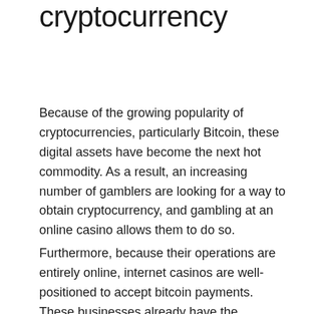cryptocurrency
Because of the growing popularity of cryptocurrencies, particularly Bitcoin, these digital assets have become the next hot commodity. As a result, an increasing number of gamblers are looking for a way to obtain cryptocurrency, and gambling at an online casino allows them to do so.
Furthermore, because their operations are entirely online, internet casinos are well-positioned to accept bitcoin payments. These businesses already have the necessary infrastructure in place, and all